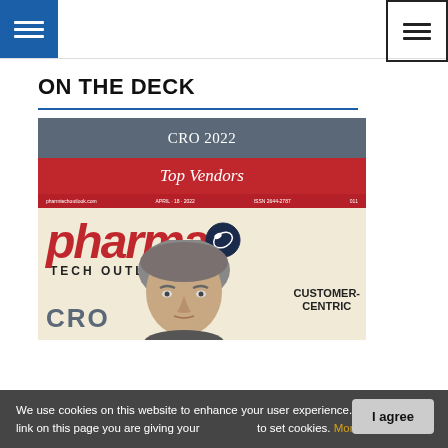Navigation bar with hamburger menus
ON THE DECK
[Figure (illustration): Pharma Tech Outlook magazine cover showing CRO 2022 Top Vendors issue with pharma logo, a man's face, and text reading CUSTOMER-CENTRIC and CRO]
We use cookies on this website to enhance your user experience. By clicking any link on this page you are giving your consent for us to set cookies. More info